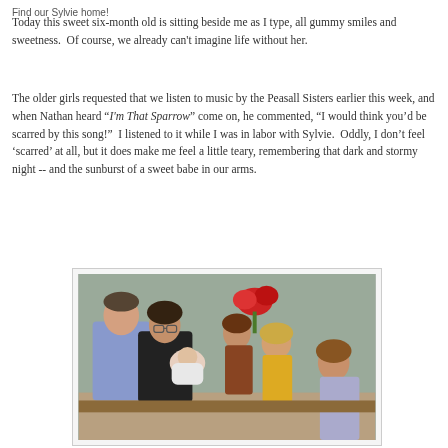Find our Sylvie home!
Today this sweet six-month old is sitting beside me as I type, all gummy smiles and sweetness.  Of course, we already can't imagine life without her.
The older girls requested that we listen to music by the Peasall Sisters earlier this week, and when Nathan heard "I'm That Sparrow" come on, he commented, "I would think you'd be scarred by this song!"  I listened to it while I was in labor with Sylvie.  Oddly, I don't feel 'scarred' at all, but it does make me feel a little teary, remembering that dark and stormy night -- and the sunburst of a sweet babe in our arms.
[Figure (photo): A family photo showing a man and woman holding a newborn baby, surrounded by two or three young girls, with red flowers visible in the background against a light green/gray wall.]